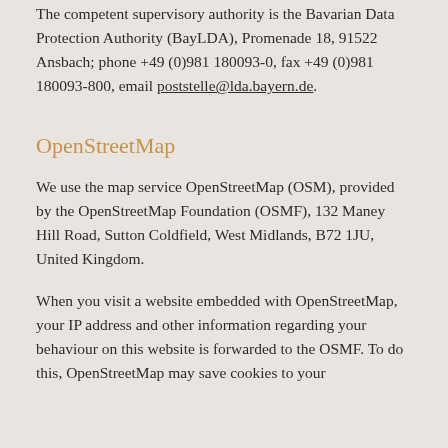The competent supervisory authority is the Bavarian Data Protection Authority (BayLDA), Promenade 18, 91522 Ansbach; phone +49 (0)981 180093-0, fax +49 (0)981 180093-800, email poststelle@lda.bayern.de.
OpenStreetMap
We use the map service OpenStreetMap (OSM), provided by the OpenStreetMap Foundation (OSMF), 132 Maney Hill Road, Sutton Coldfield, West Midlands, B72 1JU, United Kingdom.
When you visit a website embedded with OpenStreetMap, your IP address and other information regarding your behaviour on this website is forwarded to the OSMF. To do this, OpenStreetMap may save cookies to your